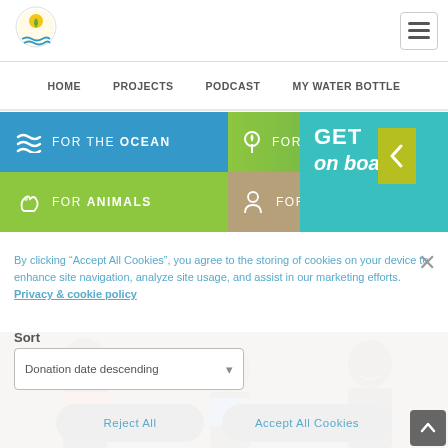[Figure (logo): Circular logo with yellow sun/leaf and blue wave lines]
[Figure (screenshot): Hamburger menu button icon (three horizontal lines)]
HOME   PROJECTS   PODCAST   MY WATER BOTTLE
[Figure (infographic): Category navigation buttons: FOR THE OCEAN (blue), FOR NATURE (green partial), GET on board (teal), FOR ANIMALS (green), FOR PEOPLE (tan/brown), with left arrow chevron]
Sort
By clicking "Accept All Cookies", you agree to the storing of cookies on your device to enhance site navigation, analyze site usage, and assist in our marketing efforts.  Privacy & cookie policy
Donation date descending
Reject All
Accept All Cookies
Cookies Settings
[Figure (photo): Photo of children/people smiling, partially visible at bottom of page]